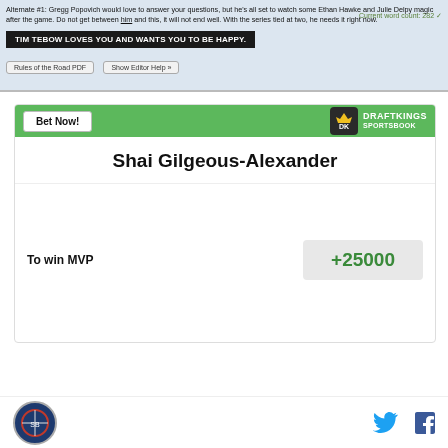[Figure (screenshot): Screenshot of a web editor/CMS with text about Gregg Popovich, a Tim Tebow banner, word count display, and navigation buttons for Rules of the Road PDF and Show Editor Help]
[Figure (infographic): DraftKings Sportsbook betting widget showing Shai Gilgeous-Alexander with odds +25000 to win MVP. Green header with Bet Now button and DraftKings Sportsbook logo.]
[Figure (logo): Footer with a circular logo on the left and Twitter and Facebook social icons on the right]